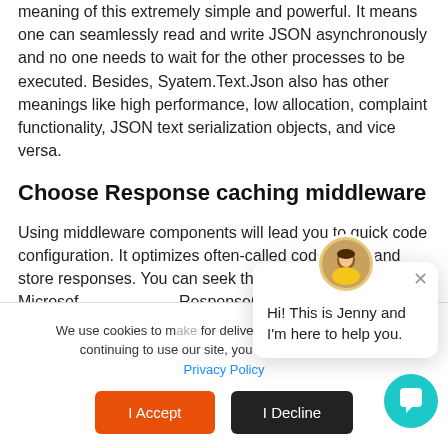meaning of this extremely simple and powerful. It means one can seamlessly read and write JSON asynchronously and no one needs to wait for the other processes to be executed. Besides, Syatem.Text.Json also has other meanings like high performance, low allocation, complaint functionality, JSON text serialization objects, and vice versa.
Choose Response caching middleware
Using middleware components will lead you to quick code configuration. It optimizes often-called code paths and store responses. You can seek this component in Microsoft ResponseCaching pack
We use cookies to ... for delivering the ... continuing to use our site, you agree to accept our Privacy Policy
[Figure (screenshot): Chat popup with avatar of Jenny and message: Hi! This is Jenny and I'm here to help you. Close button in top right.]
[Figure (screenshot): Teal circular chat FAB button with chat icon in bottom right corner.]